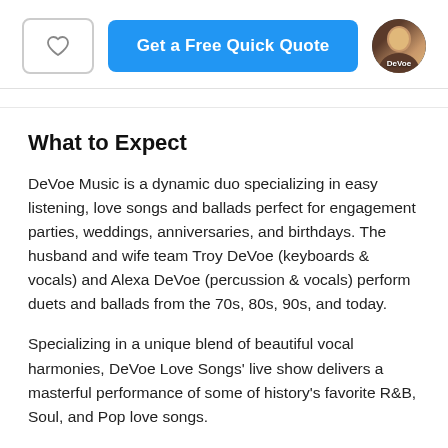[Figure (other): Header bar with heart/favorite button (outlined heart icon), blue 'Get a Free Quick Quote' button, and circular avatar thumbnail labeled 'DeVoe']
What to Expect
DeVoe Music is a dynamic duo specializing in easy listening, love songs and ballads perfect for engagement parties, weddings, anniversaries, and birthdays. The husband and wife team Troy DeVoe (keyboards & vocals) and Alexa DeVoe (percussion & vocals) perform duets and ballads from the 70s, 80s, 90s, and today.
Specializing in a unique blend of beautiful vocal harmonies, DeVoe Love Songs' live show delivers a masterful performance of some of history's favorite R&B, Soul, and Pop love songs.